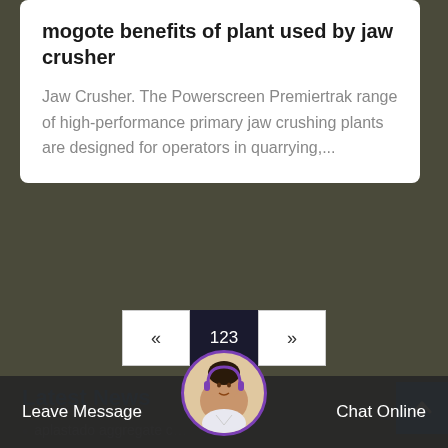mogote benefits of plant used by jaw crusher
Jaw Crusher. The Powerscreen Premiertrak range of high-performance primary jaw crushing plants are designed for operators in quarrying,...
« 123 »
Latest News
aplastado aggregate crusher plant electrical planin uzbekistan
Leave Message  Chat Online